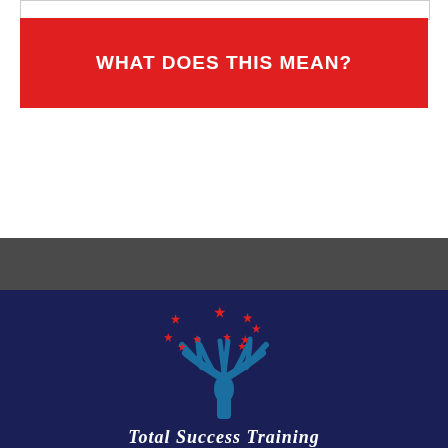WHAT DOES THIS MEAN?
[Figure (logo): Total Success Training logo: a blue stylized tree with red stars, on a dark navy background, with the text 'Total Success Training' below in white italic serif font.]